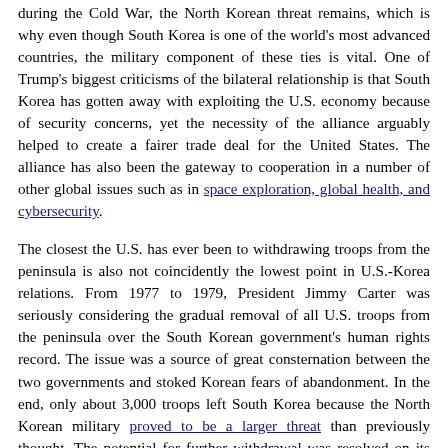during the Cold War, the North Korean threat remains, which is why even though South Korea is one of the world's most advanced countries, the military component of these ties is vital. One of Trump's biggest criticisms of the bilateral relationship is that South Korea has gotten away with exploiting the U.S. economy because of security concerns, yet the necessity of the alliance arguably helped to create a fairer trade deal for the United States. The alliance has also been the gateway to cooperation in a number of other global issues such as in space exploration, global health, and cybersecurity.
The closest the U.S. has ever been to withdrawing troops from the peninsula is also not coincidently the lowest point in U.S.-Korea relations. From 1977 to 1979, President Jimmy Carter was seriously considering the gradual removal of all U.S. troops from the peninsula over the South Korean government's human rights record. The issue was a source of great consternation between the two governments and stoked Korean fears of abandonment. In the end, only about 3,000 troops left South Korea because the North Korean military proved to be a larger threat than previously thought. The potential for further withdrawal was resolved on its own after Carter pushed the decision back to 1981 in what would have been his second term in office, but by then there was new leadership in both Seoul and Washington.